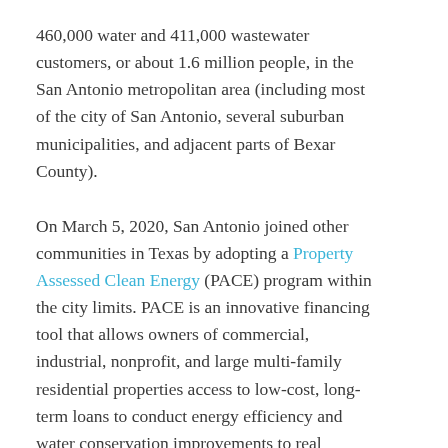460,000 water and 411,000 wastewater customers, or about 1.6 million people, in the San Antonio metropolitan area (including most of the city of San Antonio, several suburban municipalities, and adjacent parts of Bexar County).
On March 5, 2020, San Antonio joined other communities in Texas by adopting a Property Assessed Clean Energy (PACE) program within the city limits. PACE is an innovative financing tool that allows owners of commercial, industrial, nonprofit, and large multi-family residential properties access to low-cost, long-term loans to conduct energy efficiency and water conservation improvements to real property.